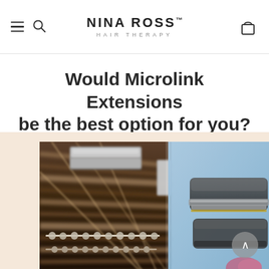NINA ROSS HAIR THERAPY
Would Microlink Extensions be the best option for you?
[Figure (photo): Close-up photo of microlink hair extensions being applied to dark brown hair. The left portion shows rows of tiny metal microlink beads attached near the scalp, with hair clips separating sections. The right portion shows a styling tool (pliers/iron) being used to crimp the extensions, with a pink-tipped tool visible at the bottom right.]